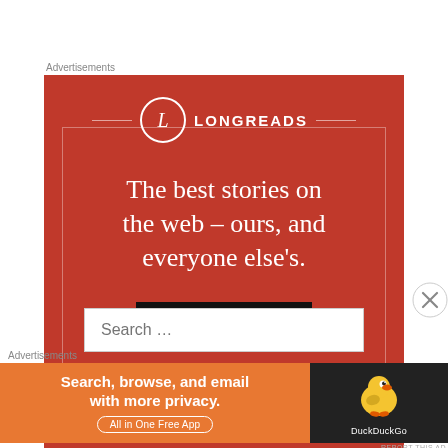Advertisements
[Figure (illustration): Longreads advertisement on red background. Shows the Longreads logo (circle with letter L) and wordmark 'LONGREADS' at top, with tagline 'The best stories on the web – ours, and everyone else's.' and a dark 'Start reading' button. Contained within a thin white border rectangle.]
REPORT THIS AD
Search …
Advertisements
[Figure (illustration): DuckDuckGo advertisement. Orange background with text 'Search, browse, and email with more privacy.' and 'All in One Free App' button. Right side dark panel shows the DuckDuckGo duck mascot icon and brand name.]
REPORT THIS AD